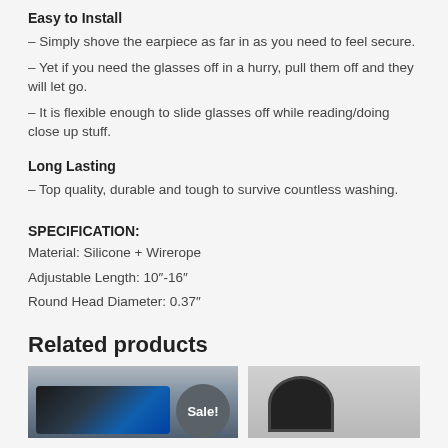Easy to Install
– Simply shove the earpiece as far in as you need to feel secure.
– Yet if you need the glasses off in a hurry, pull them off and they will let go.
– It is flexible enough to slide glasses off while reading/doing close up stuff.
Long Lasting
– Top quality, durable and tough to survive countless washing.
SPECIFICATION:
Material: Silicone + Wirerope
Adjustable Length: 10"-16"
Round Head Diameter: 0.37"
Related products
[Figure (photo): Sunglasses product photo with Sale badge]
[Figure (photo): Eyeglass rope/cord product photo]